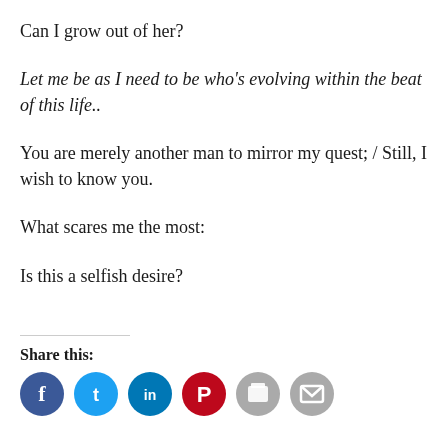Can I grow out of her?
Let me be as I need to be who’s evolving within the beat of this life..
You are merely another man to mirror my quest; / Still, I wish to know you.
What scares me the most:
Is this a selfish desire?
Share this:
[Figure (other): Row of social media sharing icon buttons: Facebook (blue), Twitter (teal/blue), LinkedIn or similar (blue), Pinterest (red/dark red), Print (grey), and another grey icon]